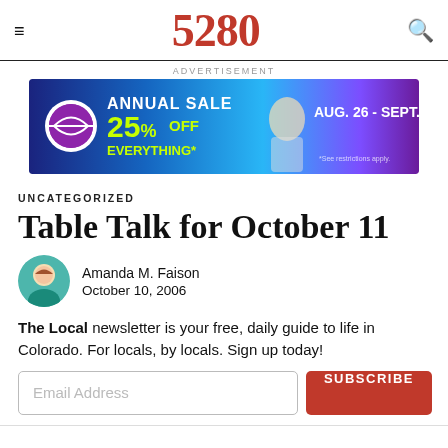5280
[Figure (other): Advertisement banner: Annual Sale 25% Off Everything, Aug. 26 - Sept. 11, Game Set Match tennis discount sports store]
UNCATEGORIZED
Table Talk for October 11
Amanda M. Faison
October 10, 2006
The Local newsletter is your free, daily guide to life in Colorado. For locals, by locals. Sign up today!